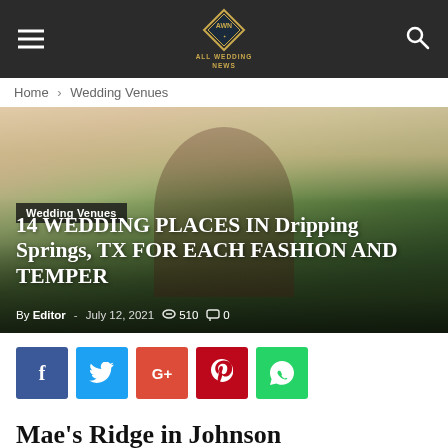AWN All Wedding News
Home › Wedding Venues
[Figure (photo): Wedding couple kissing outdoors in a field with green trees and open landscape behind them. Man in dark red suit, woman in white dress with veil holding bouquet.]
Wedding Venues
14 WEDDING PLACES IN Dripping Springs, TX FOR EACH FASHION AND TEMPER
By Editor - July 12, 2021  510  0
[Figure (infographic): Social media share buttons: Facebook, Twitter, Google+, Pinterest, WhatsApp]
Mae's Ridge in Johnson